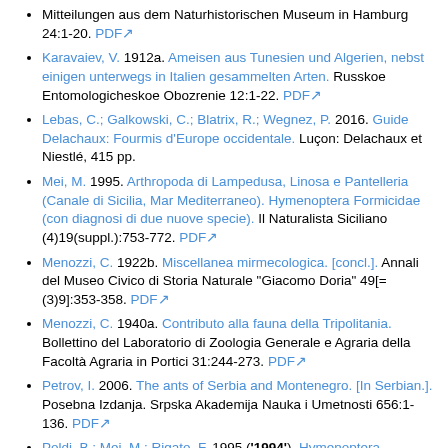Mitteilungen aus dem Naturhistorischen Museum in Hamburg 24:1-20. PDF
Karavaiev, V. 1912a. Ameisen aus Tunesien und Algerien, nebst einigen unterwegs in Italien gesammelten Arten. Russkoe Entomologicheskoe Obozrenie 12:1-22. PDF
Lebas, C.; Galkowski, C.; Blatrix, R.; Wegnez, P. 2016. Guide Delachaux: Fourmis d'Europe occidentale. Luçon: Delachaux et Niestlé, 415 pp.
Mei, M. 1995. Arthropoda di Lampedusa, Linosa e Pantelleria (Canale di Sicilia, Mar Mediterraneo). Hymenoptera Formicidae (con diagnosi di due nuove specie). Il Naturalista Siciliano (4)19(suppl.):753-772. PDF
Menozzi, C. 1922b. Miscellanea mirmecologica. [concl.]. Annali del Museo Civico di Storia Naturale "Giacomo Doria" 49[=(3)9]:353-358. PDF
Menozzi, C. 1940a. Contributo alla fauna della Tripolitania. Bollettino del Laboratorio di Zoologia Generale e Agraria della Facoltà Agraria in Portici 31:244-273. PDF
Petrov, I. 2006. The ants of Serbia and Montenegro. [In Serbian.]. Posebna Izdanja. Srpska Akademija Nauka i Umetnosti 656:1-136. PDF
Poldi, B.; Mei, M.; Rigato, F. 1995 ('1994'). Hymenoptera Formicidae. Checklist delle Specie della Fauna Italiana